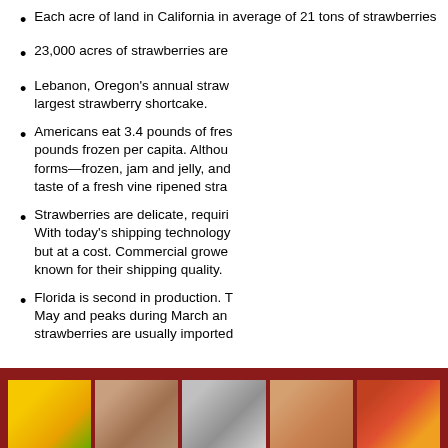Each acre of land in California in average of 21 tons of strawberries
23,000 acres of strawberries are
Lebanon, Oregon's annual straw largest strawberry shortcake.
Americans eat 3.4 pounds of fres pounds frozen per capita. Althou forms—frozen, jam and jelly, and taste of a fresh vine ripened stra
Strawberries are delicate, requiri With today's shipping technology but at a cost. Commercial growe known for their shipping quality.
Florida is second in production. T May and peaks during March an strawberries are usually imported
[Figure (photo): Footer bar with dark red background and a row of small photos showing flowers, people, silverware, a face, and food]